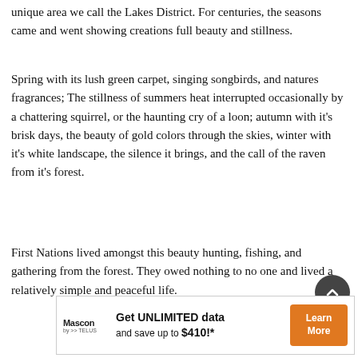unique area we call the Lakes District. For centuries, the seasons came and went showing creations full beauty and stillness.
Spring with its lush green carpet, singing songbirds, and natures fragrances; The stillness of summers heat interrupted occasionally by a chattering squirrel, or the haunting cry of a loon; autumn with it's brisk days, the beauty of gold colors through the skies, winter with it's white landscape, the silence it brings, and the call of the raven from it's forest.
First Nations lived amongst this beauty hunting, fishing, and gathering from the forest. They owed nothing to no one and lived a relatively simple and peaceful life.
[Figure (other): Mascon by TELUS advertisement banner: Get UNLIMITED data and save up to $410!* with a Learn More button]